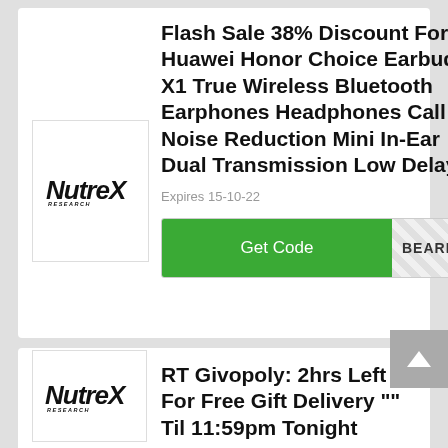Flash Sale 38% Discount For Huawei Honor Choice Earbuds X1 True Wireless Bluetooth Earphones Headphones Call Noise Reduction Mini In-Ear Dual Transmission Low Delay
Expires 15-10-22
[Figure (logo): Nutrex Research logo — italic bold stylized text]
Get Code   BEARBUDS
RT Givopoly: 2hrs Left For Free Gift Delivery "" Til 11:59pm Tonight
[Figure (logo): Nutrex Research logo — italic bold stylized text]